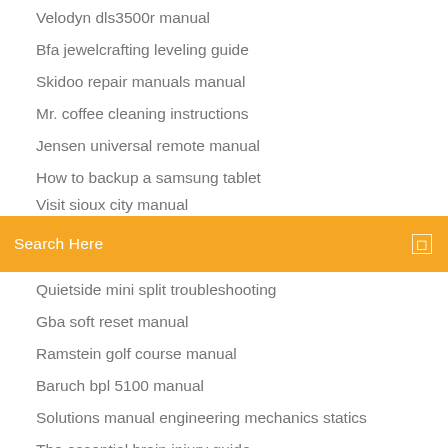Velodyn dls3500r manual
Bfa jewelcrafting leveling guide
Skidoo repair manuals manual
Mr. coffee cleaning instructions
Jensen universal remote manual
How to backup a samsung tablet
Visit sioux city manual
Search Here
Quietside mini split troubleshooting
Gba soft reset manual
Ramstein golf course manual
Baruch bpl 5100 manual
Solutions manual engineering mechanics statics
The essential brain injury guide
Runescape investment credits manual
Opek hvt 400 manual
Fernandes sustainer installation manual
How to indicate emphasis added